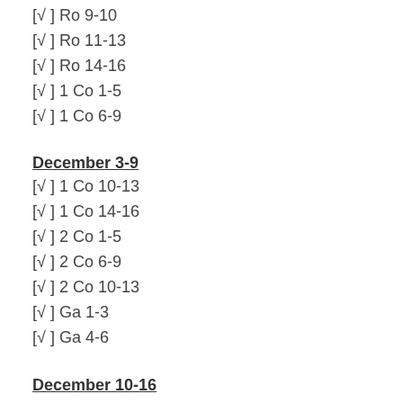[√ ] Ro 9-10
[√ ] Ro 11-13
[√ ] Ro 14-16
[√ ] 1 Co 1-5
[√ ] 1 Co 6-9
December 3-9
[√ ] 1 Co 10-13
[√ ] 1 Co 14-16
[√ ] 2 Co 1-5
[√ ] 2 Co 6-9
[√ ] 2 Co 10-13
[√ ] Ga 1-3
[√ ] Ga 4-6
December 10-16